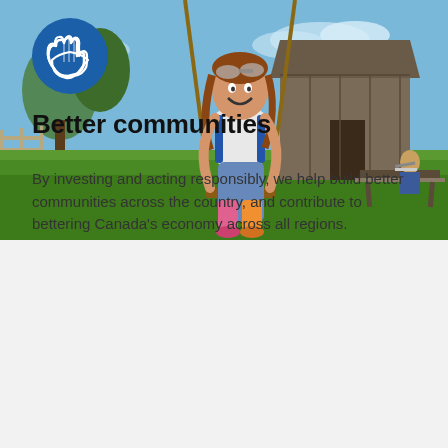[Figure (photo): A young girl smiling on a rope swing in a green field, wearing a white and blue shirt and colorful leggings. In the background, a woman sits at a picnic table with a laptop near a rustic wooden barn and trees under a blue sky.]
[Figure (illustration): Blue circular icon with two cupped hands (white outline) forming a supportive gesture, suggesting community care.]
Better communities
By investing and acting responsibly, we help build better communities across the country, and contribute to bettering Canada's economy across all regions.